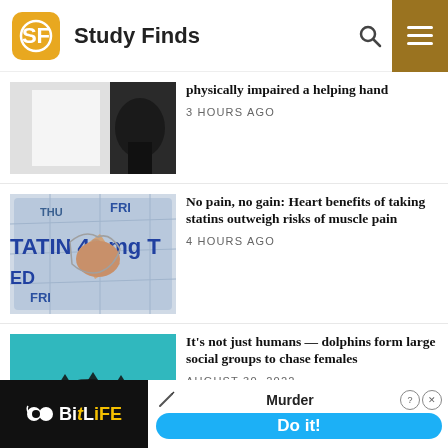Study Finds
[Figure (screenshot): Person holding a large white board, blurred background]
physically impaired a helping hand
3 HOURS AGO
[Figure (photo): Statin 40mg pill packaging with a pill partially removed]
No pain, no gain: Heart benefits of taking statins outweigh risks of muscle pain
4 HOURS AGO
[Figure (photo): Dolphins swimming in turquoise water, aerial view]
It's not just humans — dolphins form large social groups to chase females
AUGUST 30, 2022
[Figure (screenshot): BitLife advertisement banner with Murder / Do it! text]